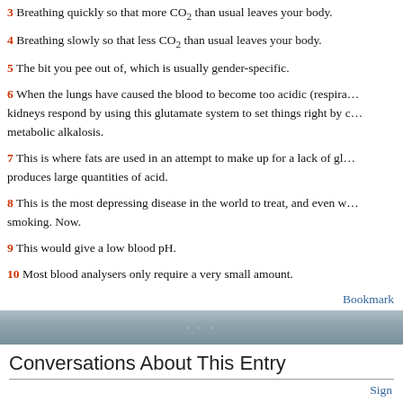3 Breathing quickly so that more CO2 than usual leaves your body.
4 Breathing slowly so that less CO2 than usual leaves your body.
5 The bit you pee out of, which is usually gender-specific.
6 When the lungs have caused the blood to become too acidic (respira... kidneys respond by using this glutamate system to set things right by c... metabolic alkalosis.
7 This is where fats are used in an attempt to make up for a lack of gl... produces large quantities of acid.
8 This is the most depressing disease in the world to treat, and even w... smoking. Now.
9 This would give a low blood pH.
10 Most blood analysers only require a very small amount.
Bookmark
Conversations About This Entry
Sign